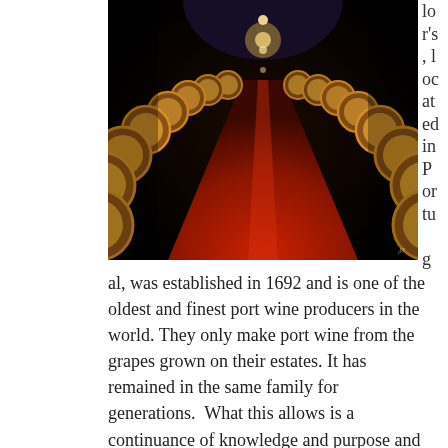[Figure (photo): Dark cellar corridor with rows of wooden wine barrels stacked on both sides, illuminated by warm golden light, with a red floor running down the center perspective.]
lo
r's
, l
oc
at
ed
in
P
or
tu
g
al, was established in 1692 and is one of the oldest and finest port wine producers in the world. They only make port wine from the grapes grown on their estates. It has remained in the same family for generations.  What this allows is a continuance of knowledge and purpose and helps provide the highest